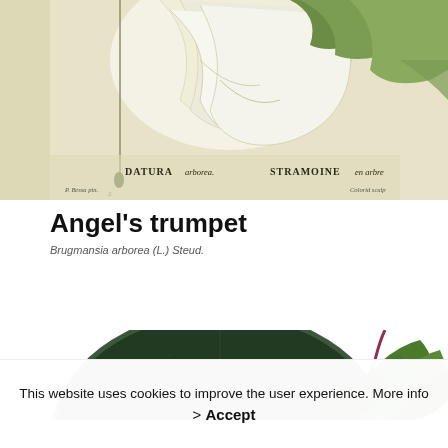[Figure (illustration): Vintage botanical illustration of Datura arborea (Angel's trumpet) showing large white trumpet-shaped flowers and leaves, with labels 'DATURA arborea.' and 'STRAMOINE en arbre' and artist credits 'P. Bessa pin.' and engraver credit at lower right]
Angel's trumpet
Brugmansia arborea (L.) Steud.
[Figure (illustration): Botanical illustration showing large dark green round leaf and green leaves with red-purple stems, partially visible]
This website uses cookies to improve the user experience. More info
> Accept